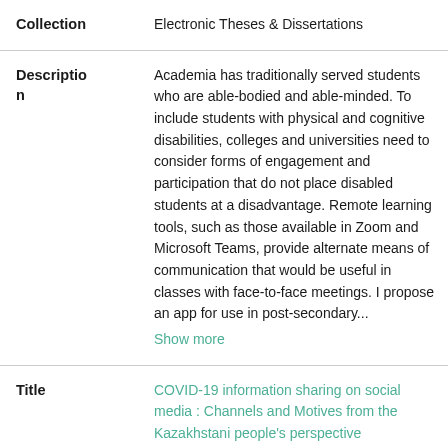| Field | Value |
| --- | --- |
| Collection | Electronic Theses & Dissertations |
| Description | Academia has traditionally served students who are able-bodied and able-minded. To include students with physical and cognitive disabilities, colleges and universities need to consider forms of engagement and participation that do not place disabled students at a disadvantage. Remote learning tools, such as those available in Zoom and Microsoft Teams, provide alternate means of communication that would be useful in classes with face-to-face meetings. I propose an app for use in post-secondary... Show more |
| Title | COVID-19 information sharing on social media : Channels and Motives from the Kazakhstani people's perspective |